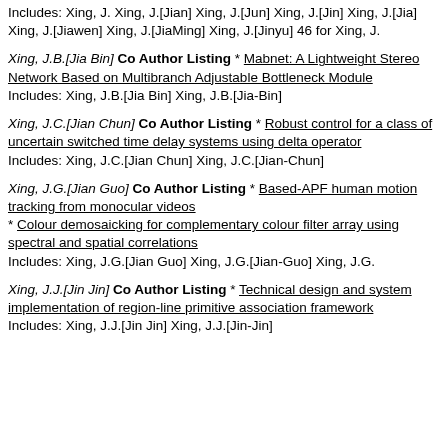Includes: Xing, J. Xing, J.[Jian] Xing, J.[Jun] Xing, J.[Jin] Xing, J.[Jia] Xing, J.[Jiawen] Xing, J.[JiaMing] Xing, J.[Jinyu] 46 for Xing, J.
Xing, J.B.[Jia Bin] Co Author Listing * Mabnet: A Lightweight Stereo Network Based on Multibranch Adjustable Bottleneck Module
Includes: Xing, J.B.[Jia Bin] Xing, J.B.[Jia-Bin]
Xing, J.C.[Jian Chun] Co Author Listing * Robust control for a class of uncertain switched time delay systems using delta operator
Includes: Xing, J.C.[Jian Chun] Xing, J.C.[Jian-Chun]
Xing, J.G.[Jian Guo] Co Author Listing * Based-APF human motion tracking from monocular videos
* Colour demosaicking for complementary colour filter array using spectral and spatial correlations
Includes: Xing, J.G.[Jian Guo] Xing, J.G.[Jian-Guo] Xing, J.G.
Xing, J.J.[Jin Jin] Co Author Listing * Technical design and system implementation of region-line primitive association framework
Includes: Xing, J.J.[Jin Jin] Xing, J.J.[Jin-Jin]